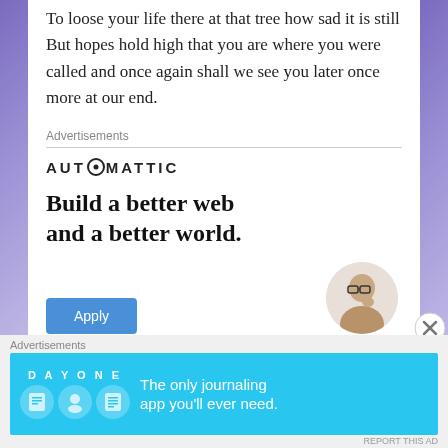To loose your life there at that tree how sad it is still
But hopes hold high that you are where you were called and once again shall we see you later once more at our end.
Advertisements
[Figure (other): Automattic advertisement: logo text 'AUTOMATTIC' with a circle-o icon, headline 'Build a better web and a better world.' with an Apply button and a circular photo of a person.]
Advertisements
[Figure (other): Day One app advertisement on a light blue background: 'DAY ONE' logo, three circular icons, text 'The only journaling app you'll ever need.']